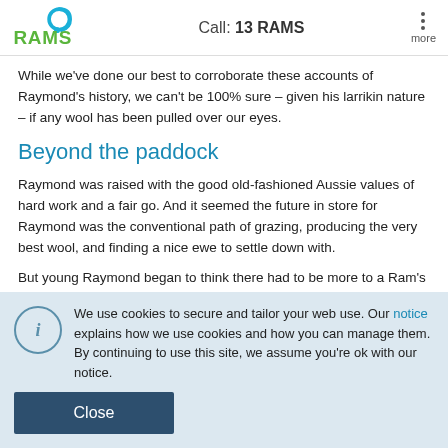RAMS logo | Call: 13 RAMS | more
While we've done our best to corroborate these accounts of Raymond's history, we can't be 100% sure – given his larrikin nature – if any wool has been pulled over our eyes.
Beyond the paddock
Raymond was raised with the good old-fashioned Aussie values of hard work and a fair go. And it seemed the future in store for Raymond was the conventional path of grazing, producing the very best wool, and finding a nice ewe to settle down with.
But young Raymond began to think there had to be more to a Ram's life, and it wasn't long before his passion for performing made itself apparent.
We use cookies to secure and tailor your web use. Our notice explains how we use cookies and how you can manage them. By continuing to use this site, we assume you're ok with our notice.
Close